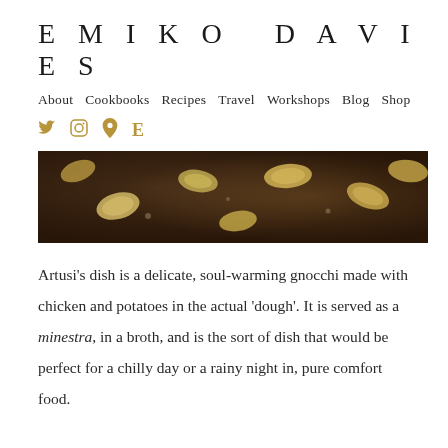EMIKO DAVIES
About  Cookbooks  Recipes  Travel  Workshops  Blog  Shop
[Figure (photo): Close-up photo of gnocchi pieces on a dark wooden surface, slightly out of focus, with yellowish-green gnocchi shapes visible]
Artusi's dish is a delicate, soul-warming gnocchi made with chicken and potatoes in the actual 'dough'. It is served as a minestra, in a broth, and is the sort of dish that would be perfect for a chilly day or a rainy night in, pure comfort food.